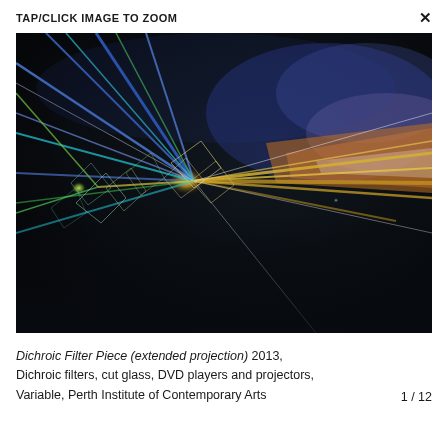TAP/CLICK IMAGE TO ZOOM  ×
[Figure (photo): Artistic photograph of dichroic glass filters and cut glass prisms refracting and dispersing projected light into colorful beams of blue, yellow, green, orange, and white against a dark background. The light radiates outward in streaks from crystalline glass objects arranged horizontally across the frame.]
Dichroic Filter Piece (extended projection) 2013, Dichroic filters, cut glass, DVD players and projectors, Variable, Perth Institute of Contemporary Arts    1 / 12